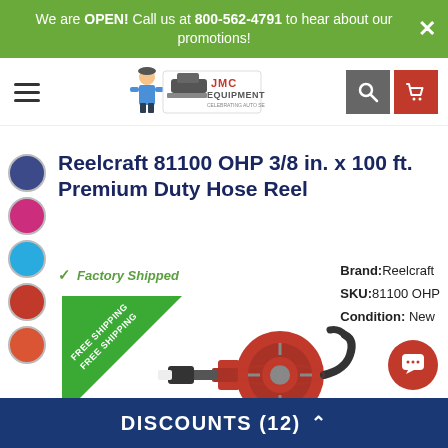We are OPEN! Call us at 800-562-4791 to hear about our promotions!
[Figure (logo): JMC Equipment logo with mechanic character and car lift graphic]
Reelcraft 81100 OHP 3/8 in. x 100 ft. Premium Duty Hose Reel
Factory Shipped
Brand: Reelcraft
SKU: 81100 OHP
Condition: New
[Figure (photo): Red Reelcraft 81100 OHP premium duty hose reel with hose attached]
DISCOUNTS (12)